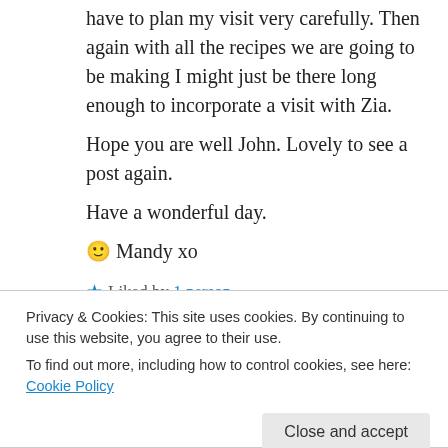have to plan my visit very carefully. Then again with all the recipes we are going to be making I might just be there long enough to incorporate a visit with Zia.
Hope you are well John. Lovely to see a post again.
Have a wonderful day.
🙂 Mandy xo
★ Liked by 1 person
↪ Reply
Privacy & Cookies: This site uses cookies. By continuing to use this website, you agree to their use.
To find out more, including how to control cookies, see here: Cookie Policy
needn't worry. All you need do is get here.